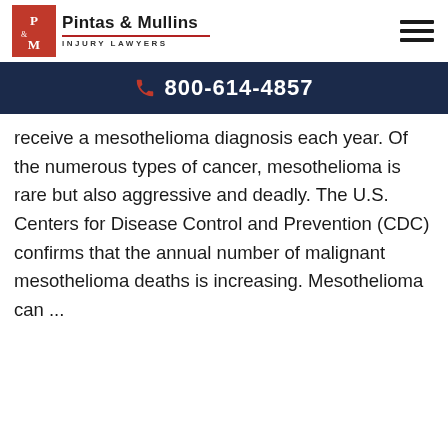Pintas & Mullins Injury Lawyers
800-614-4857
receive a mesothelioma diagnosis each year. Of the numerous types of cancer, mesothelioma is rare but also aggressive and deadly. The U.S. Centers for Disease Control and Prevention (CDC) confirms that the annual number of malignant mesothelioma deaths is increasing. Mesothelioma can ...